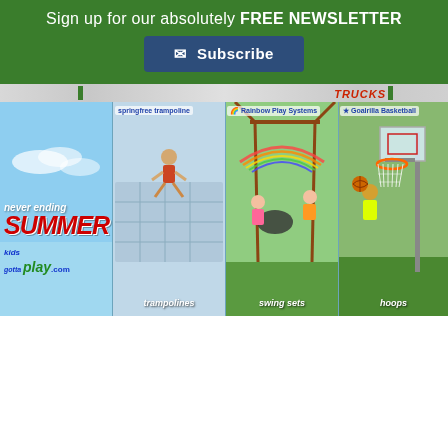Sign up for our absolutely FREE NEWSLETTER
Subscribe
[Figure (infographic): Navigation bar strip with TRUCKS text in red italic bold and green vertical bars]
[Figure (infographic): Never ending SUMMER kidsgottaplay.com ad banner with trampoline, swing sets, and basketball hoops panels]
[Figure (infographic): Dark blue footer bar with blue stripe at bottom]